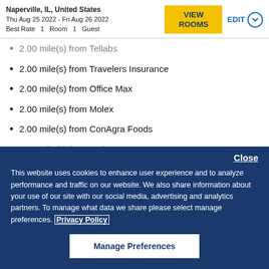Naperville, IL, United States
Thu Aug 25 2022 - Fri Aug 26 2022
Best Rate  1  Room  1  Guest
2.00 mile(s) from Tellabs
2.00 mile(s) from Travelers Insurance
2.00 mile(s) from Office Max
2.00 mile(s) from Molex
2.00 mile(s) from ConAgra Foods
3.00 mile(s) from BP/Amoco
Close
This website uses cookies to enhance user experience and to analyze performance and traffic on our website. We also share information about your use of our site with our social media, advertising and analytics partners. To manage what data we share please select manage preferences. Privacy Policy
Manage Preferences